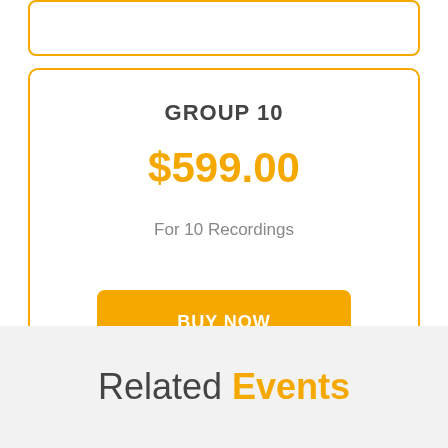GROUP 10
$599.00
For 10 Recordings
BUY NOW
Related Events